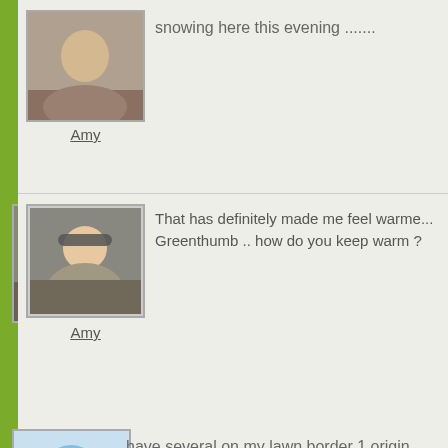[Figure (photo): User avatar photo of Amy - person sitting outdoors]
Amy
snowing here this evening .......
[Figure (photo): User avatar photo of Amy - woman with sunglasses outdoors]
Amy
That has definitely made me feel warme... Greenthumb .. how do you keep warm ?
[Figure (photo): User avatar photo - blue budgerigar bird]
230338
have several on my lawn border 1 origin... cuttings beautyful evergreens all establi... but the frost on yours makes it so attrac... Thankyou. Tony
[Figure (photo): User avatar photo - green plant/garden]
lov spikey pretty .. great photo TT :o)